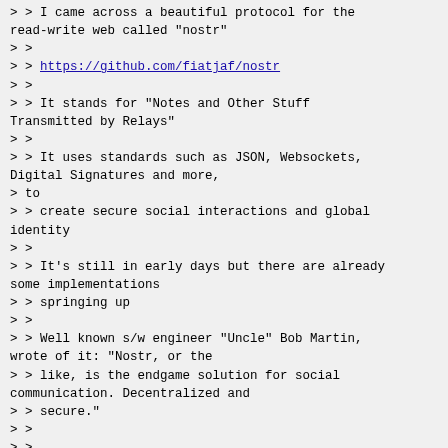> > I came across a beautiful protocol for the read-write web called "nostr"
> >
> > https://github.com/fiatjaf/nostr
> >
> > It stands for "Notes and Other Stuff Transmitted by Relays"
> >
> > It uses standards such as JSON, Websockets, Digital Signatures and more,
> to
> > create secure social interactions and global identity
> >
> > It's still in early days but there are already some implementations
> > springing up
> >
> > Well known s/w engineer "Uncle" Bob Martin, wrote of it: "Nostr, or the
> > like, is the endgame solution for social communication. Decentralized and
> > secure."
> >
> >
https://twitter.com/unclebobmartin/status/147907066 1435871234
> >
> > I think it will be an interesting project, and